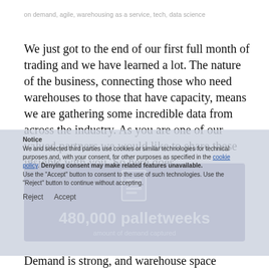on demand, agile, warehousing as a service, tech, data science
We just got to the end of our first full month of trading and we have learned a lot. The nature of the business, connecting those who need warehouses to those that have capacity, means we are gathering some incredible data from across the industry. As you are one of our valued partners we would like to share these insights with you. So here goes...
[Figure (infographic): Purple/blue box with document icon showing '480,000 palletweeks' and subtitle 'amount of demand captured']
Demand is strong, and warehouse space